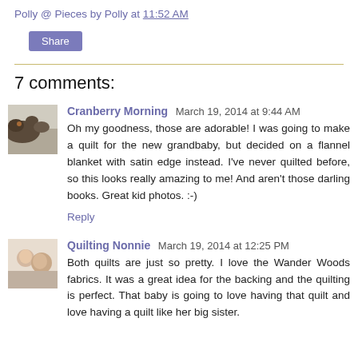Polly @ Pieces by Polly at 11:52 AM
Share
7 comments:
Cranberry Morning  March 19, 2014 at 9:44 AM
Oh my goodness, those are adorable! I was going to make a quilt for the new grandbaby, but decided on a flannel blanket with satin edge instead. I've never quilted before, so this looks really amazing to me! And aren't those darling books. Great kid photos. :-)
Reply
Quilting Nonnie  March 19, 2014 at 12:25 PM
Both quilts are just so pretty. I love the Wander Woods fabrics. It was a great idea for the backing and the quilting is perfect. That baby is going to love having that quilt and love having a quilt like her big sister.